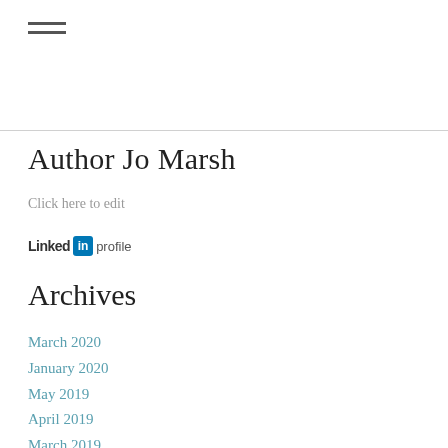[Figure (other): Hamburger menu icon with three horizontal lines]
Author Jo Marsh
Click here to edit
[Figure (logo): LinkedIn logo with 'Linked' text, blue 'in' icon, and 'profile' text]
Archives
March 2020
January 2020
May 2019
April 2019
March 2019
January 2019
November 2018
October 2018
September 2018
August 2018
June 2018